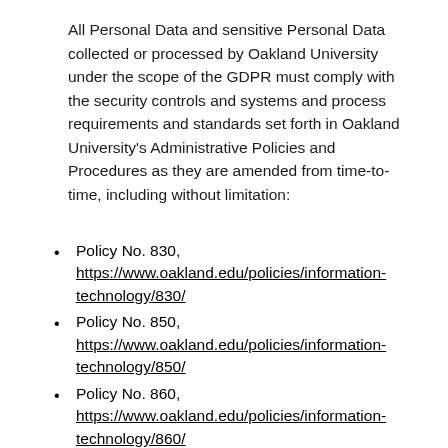All Personal Data and sensitive Personal Data collected or processed by Oakland University under the scope of the GDPR must comply with the security controls and systems and process requirements and standards set forth in Oakland University's Administrative Policies and Procedures as they are amended from time-to-time, including without limitation:
Policy No. 830, https://www.oakland.edu/policies/information-technology/830/
Policy No. 850, https://www.oakland.edu/policies/information-technology/850/
Policy No. 860, https://www.oakland.edu/policies/information-technology/860/
Policy No. 870, https://www.oakland.edu/policies/information-technology/